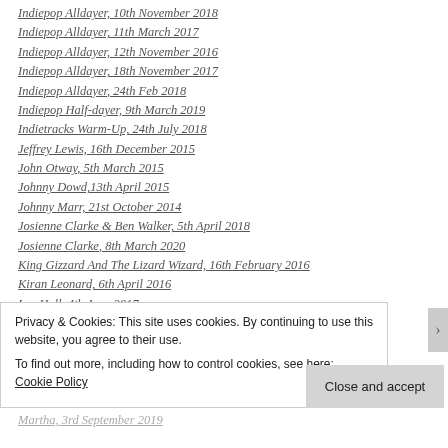Indiepop Alldayer, 10th November 2018
Indiepop Alldayer, 11th March 2017
Indiepop Alldayer, 12th November 2016
Indiepop Alldayer, 18th November 2017
Indiepop Alldayer, 24th Feb 2018
Indiepop Half-dayer, 9th March 2019
Indietracks Warm-Up, 24th July 2018
Jeffrey Lewis, 16th December 2015
John Otway, 5th March 2015
Johnny Dowd,13th April 2015
Johnny Marr, 21st October 2014
Josienne Clarke & Ben Walker, 5th April 2018
Josienne Clarke, 8th March 2020
King Gizzard And The Lizard Wizard, 16th February 2016
Kiran Leonard, 6th April 2016
Lee Hull, 4th June 2017
The Lovely Eggs, 26th April 2016
Malena Zavala, 25th April 2019
Mammoth Penguins, 14th July 2015
Mammoth Penguins, 3rd March 2020
Marika Hackman, 14th April 2015
Martha, 3rd September 2019
Privacy & Cookies: This site uses cookies. By continuing to use this website, you agree to their use.
To find out more, including how to control cookies, see here: Cookie Policy
Close and accept